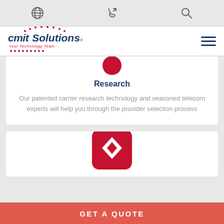CMIT Solutions website header with globe icon, phone icon, search icon, CMIT Solutions logo, and hamburger menu
[Figure (illustration): Small red circle icon at top of Research card, partially visible]
Research
Our patented carrier research technology and seasoned telecom experts will help you through the provider selection process
[Figure (illustration): Red rounded square with diamond/arrow icon, partially visible in second card]
GET A QUOTE